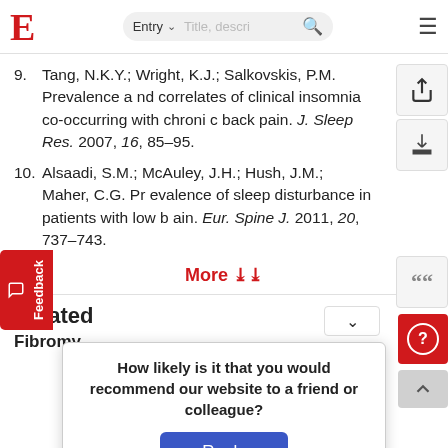E [logo] | Entry search bar
9. Tang, N.K.Y.; Wright, K.J.; Salkovskis, P.M. Prevalence and correlates of clinical insomnia co-occurring with chronic back pain. J. Sleep Res. 2007, 16, 85–95.
10. Alsaadi, S.M.; McAuley, J.H.; Hush, J.M.; Maher, C.G. Prevalence of sleep disturbance in patients with low back pain. Eur. Spine J. 2011, 20, 737–743.
More
Related
Fibromyalgia
How likely is it that you would recommend our website to a friend or colleague?
Reply